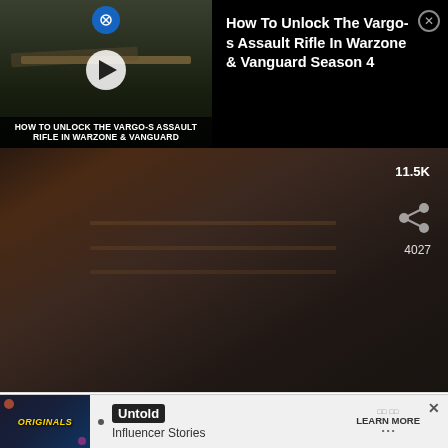[Figure (screenshot): Ad overlay showing a video thumbnail of a weapon (Vargo-S Assault Rifle) with play button and title text 'HOW TO UNLOCK THE VARGO-S ASSAULT RIFLE IN WARZONE & VANGUARD']
How To Unlock The Vargo-s Assault Rifle In Warzone & Vanguard Season 4
[Figure (screenshot): TikTok video content showing a dark interior scene with interaction counts: 11.5K likes and 4027 shares]
ting videos on TikTo
Watch now
@fegalvao_
Hange's true love ☺♥. #hangezoe #shingekinokyojin ...See more
♬  Ginseng Strip 2002 - Yung Lean
[Figure (screenshot): Bottom advertisement banner showing 'ORIGINALS' logo with text 'Untold Influencer Stories' and 'LEARN MORE' button]